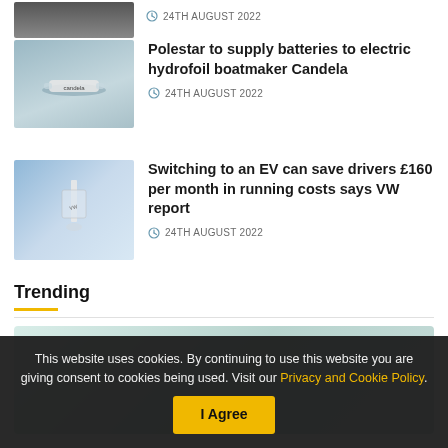[Figure (photo): Partial view of first news article thumbnail (electric car, top of page, cropped)]
24TH AUGUST 2022
[Figure (photo): Photo of an electric hydrofoil boat on water with 'Candela' branding]
Polestar to supply batteries to electric hydrofoil boatmaker Candela
24TH AUGUST 2022
[Figure (photo): Photo of a flag or banner against a blue sky]
Switching to an EV can save drivers £160 per month in running costs says VW report
24TH AUGUST 2022
Trending
[Figure (photo): Light blue-green gradient banner image in the Trending section]
This website uses cookies. By continuing to use this website you are giving consent to cookies being used. Visit our Privacy and Cookie Policy.